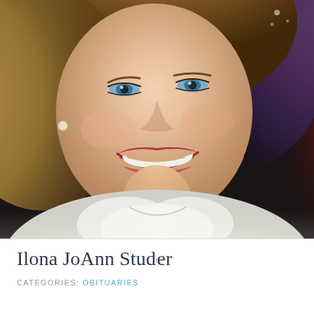[Figure (photo): Close-up portrait photo of a smiling woman with light brown/blonde hair and blue eyes, wearing a white top and a necklace. The background includes dark tones on the left and a reddish background on the right. The photo has a warm, vintage quality.]
Ilona JoAnn Studer
CATEGORIES: OBITUARIES